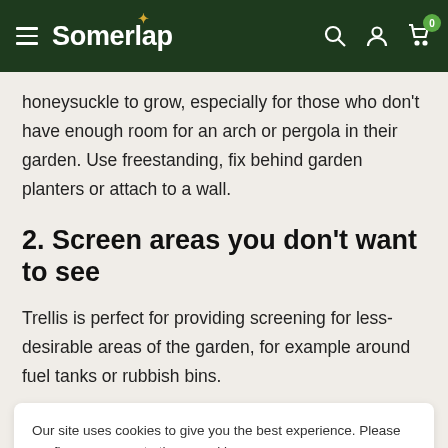Somerlap
honeysuckle to grow, especially for those who don't have enough room for an arch or pergola in their garden. Use freestanding, fix behind garden planters or attach to a wall.
2. Screen areas you don't want to see
Trellis is perfect for providing screening for less-desirable areas of the garden, for example around fuel tanks or rubbish bins.
Our site uses cookies to give you the best experience. Please confirm you agree to these cookies.
trellis fence panels provide an attractive solution.